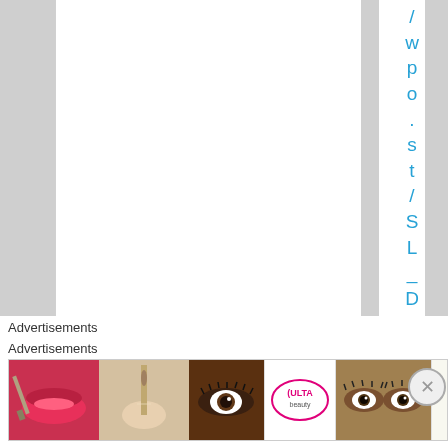/wpo.st/SL_D2
[Figure (illustration): Blue star icon (liked/favorite button)]
Liked by 1 person
Advertisements
[Figure (photo): Advertisement banner showing beauty/makeup products with ULTA logo and SHOP NOW text]